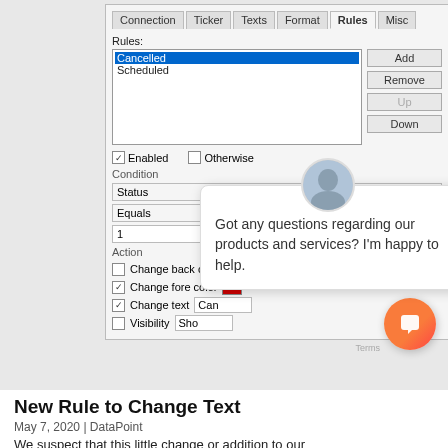[Figure (screenshot): Software dialog window showing Rules configuration tab with a list box containing 'Cancelled' (selected, blue) and 'Scheduled', Add/Remove/Up/Down buttons, Enabled and Otherwise checkboxes, Condition section with Status/Equals dropdowns and value field '1', and Action section with checkboxes for Change back color, Change fore color (red swatch), Change text, and Visibility. Overlaid by a chat popup with agent avatar and text 'Got any questions regarding our products and services? I'm happy to help.' with a close X button. An orange chat launcher bubble appears at bottom right.]
New Rule to Change Text
May 7, 2020  |  DataPoint
We suspect that this little change or addition to our